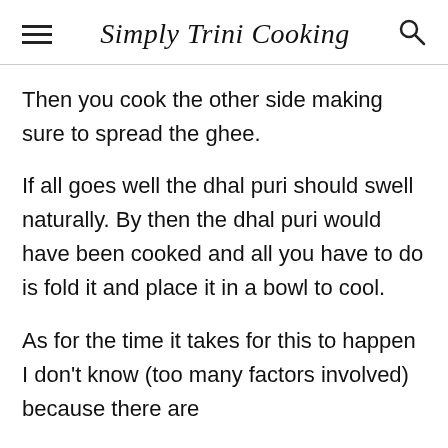Simply Trini Cooking
Then you cook the other side making sure to spread the ghee.
If all goes well the dhal puri should swell naturally. By then the dhal puri would have been cooked and all you have to do is fold it and place it in a bowl to cool.
As for the time it takes for this to happen I don't know (too many factors involved) because there are